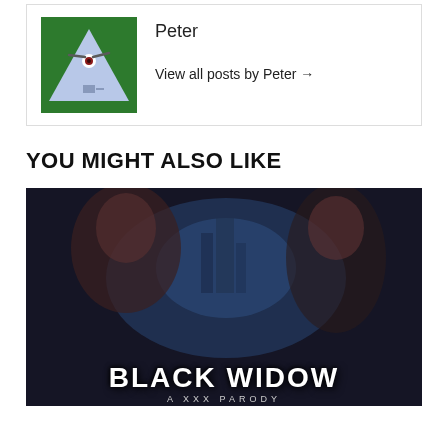[Figure (illustration): Author avatar: green background with a pyramid/illuminati eye cartoon illustration]
Peter
View all posts by Peter →
YOU MIGHT ALSO LIKE
[Figure (photo): Black Widow adult parody movie promotional image showing two red-haired women, with title text 'BLACK WIDOW' at the bottom]